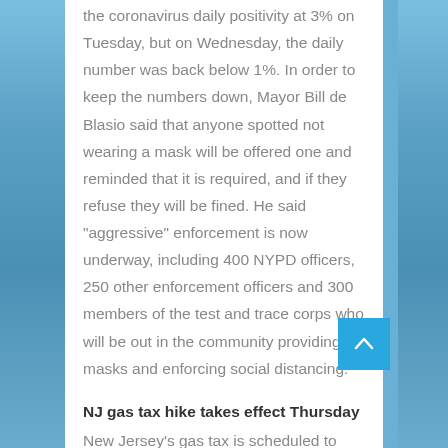the coronavirus daily positivity at 3% on Tuesday, but on Wednesday, the daily number was back below 1%. In order to keep the numbers down, Mayor Bill de Blasio said that anyone spotted not wearing a mask will be offered one and reminded that it is required, and if they refuse they will be fined. He said “aggressive” enforcement is now underway, including 400 NYPD officers, 250 other enforcement officers and 300 members of the test and trace corps who will be out in the community providing masks and enforcing social distancing.
NJ gas tax hike takes effect Thursday
New Jersey’s gas tax is scheduled to rise